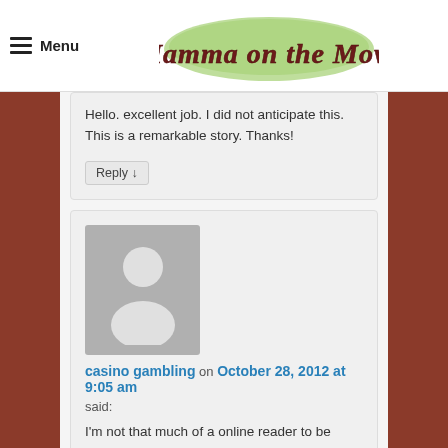Menu | Mamma on the Move
Hello. excellent job. I did not anticipate this. This is a remarkable story. Thanks!
Reply ↓
casino gambling on October 28, 2012 at 9:05 am said:
I'm not that much of a online reader to be honest but your blogs really nice, keep it up! I'll go ahead and bookmark your site to come back later on. All the best
Reply ↓